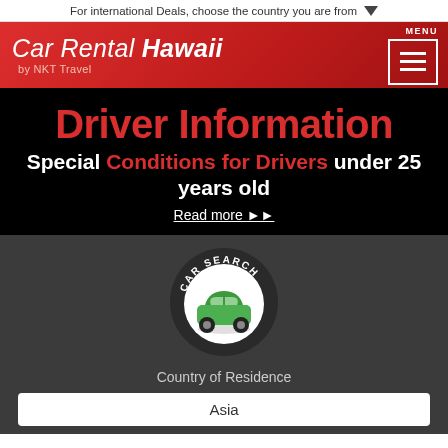For international Deals, choose the country you are from
Car Rental Hawaii by NKT Travel
Driver Information
Special Conditions for Drivers under 25 years old
Read more ▶▶
[Figure (logo): CAR SEARCH circular badge with a green car icon on white circle background]
Country of Residence
Asia